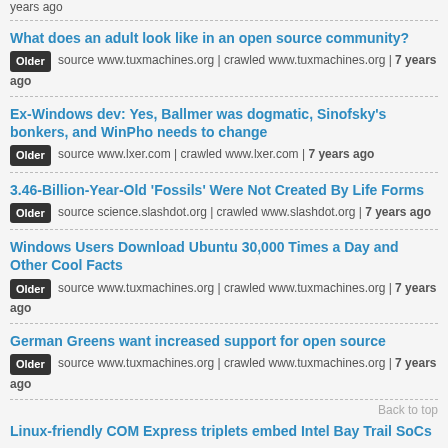years ago
What does an adult look like in an open source community?
Older source www.tuxmachines.org | crawled www.tuxmachines.org | 7 years ago
Ex-Windows dev: Yes, Ballmer was dogmatic, Sinofsky's bonkers, and WinPho needs to change
Older source www.lxer.com | crawled www.lxer.com | 7 years ago
3.46-Billion-Year-Old 'Fossils' Were Not Created By Life Forms
Older source science.slashdot.org | crawled www.slashdot.org | 7 years ago
Windows Users Download Ubuntu 30,000 Times a Day and Other Cool Facts
Older source www.tuxmachines.org | crawled www.tuxmachines.org | 7 years ago
German Greens want increased support for open source
Older source www.tuxmachines.org | crawled www.tuxmachines.org | 7 years ago
Back to top
Linux-friendly COM Express triplets embed Intel Bay Trail SoCs